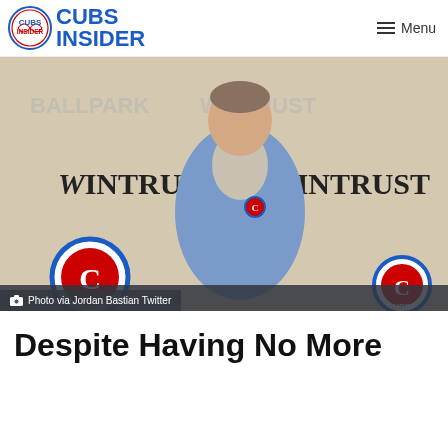CUBS INSIDER
[Figure (photo): Man in blue Chicago Cubs zip-up jacket standing in front of a Wintrust-branded step-and-repeat backdrop. Caption overlay reads: Photo via Jordan Bastian Twitter]
Photo via Jordan Bastian Twitter
Despite Having No More